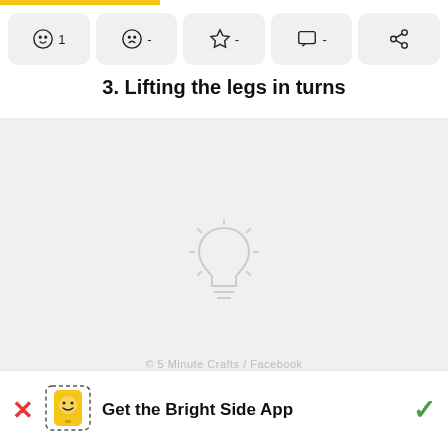[Figure (screenshot): Top icon/action bar with 5 buttons: smiley face with '1', sad face with '-', star with '-', chat bubble with '-', and share icon]
3. Lifting the legs in turns
[Figure (illustration): Large light gray content area with a faint lightbulb icon in the center, indicating a tip or loading state]
© 5 Minute Crafts / Facebook
[Figure (infographic): Bottom app download banner: red X on left, phone icon with smiley face, 'Get the Bright Side App' text in bold, green checkmark on right]